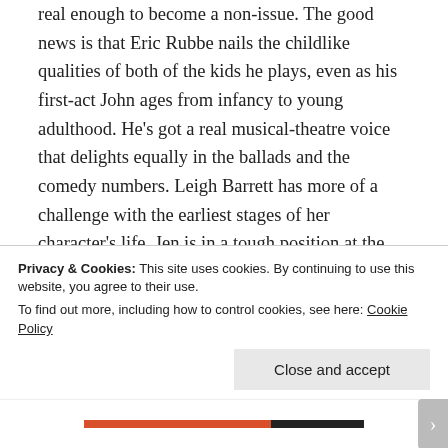real enough to become a non-issue. The good news is that Eric Rubbe nails the childlike qualities of both of the kids he plays, even as his first-act John ages from infancy to young adulthood. He's got a real musical-theatre voice that delights equally in the ballads and the comedy numbers. Leigh Barrett has more of a challenge with the earliest stages of her character's life. Jen is in a tough position at the start of the play, needing to communicate not only her love for John, but also her fear of her abusive father. Unfortunately, the gravity of her situation renders her childlike…
Privacy & Cookies: This site uses cookies. By continuing to use this website, you agree to their use.
To find out more, including how to control cookies, see here: Cookie Policy